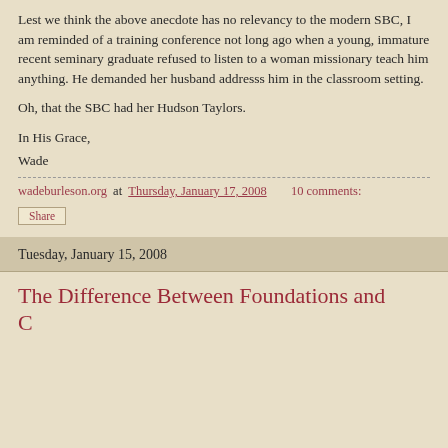Lest we think the above anecdote has no relevancy to the modern SBC, I am reminded of a training conference not long ago when a young, immature recent seminary graduate refused to listen to a woman missionary teach him anything. He demanded her husband addresss him in the classroom setting.
Oh, that the SBC had her Hudson Taylors.
In His Grace,
Wade
wadeburleson.org at Thursday, January 17, 2008   10 comments:
Share
Tuesday, January 15, 2008
The Difference Between Foundations and C…